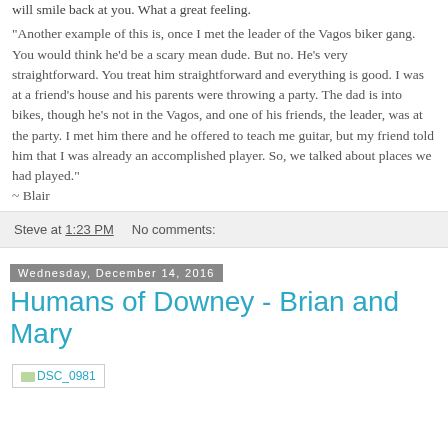will smile back at you. What a great feeling.
"Another example of this is, once I met the leader of the Vagos biker gang. You would think he'd be a scary mean dude. But no. He's very straightforward. You treat him straightforward and everything is good. I was at a friend's house and his parents were throwing a party. The dad is into bikes, though he's not in the Vagos, and one of his friends, the leader, was at the party. I met him there and he offered to teach me guitar, but my friend told him that I was already an accomplished player. So, we talked about places we had played."
~ Blair
Steve at 1:23 PM    No comments:
Wednesday, December 14, 2016
Humans of Downey - Brian and Mary
[Figure (photo): DSC_0981 image placeholder]